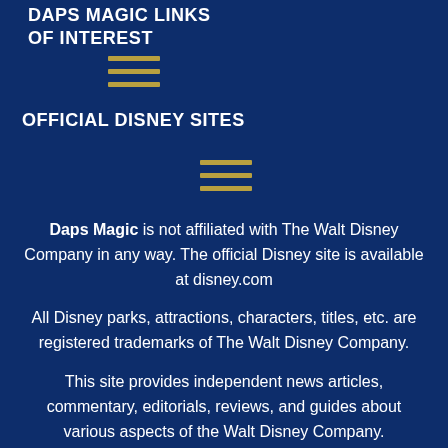DAPS MAGIC LINKS OF INTEREST
[Figure (other): Hamburger menu icon (three horizontal lines) in golden/yellow color]
OFFICIAL DISNEY SITES
[Figure (other): Hamburger menu icon (three horizontal lines) in golden/yellow color]
Daps Magic is not affiliated with The Walt Disney Company in any way. The official Disney site is available at disney.com
All Disney parks, attractions, characters, titles, etc. are registered trademarks of The Walt Disney Company.
This site provides independent news articles, commentary, editorials, reviews, and guides about various aspects of the Walt Disney Company.